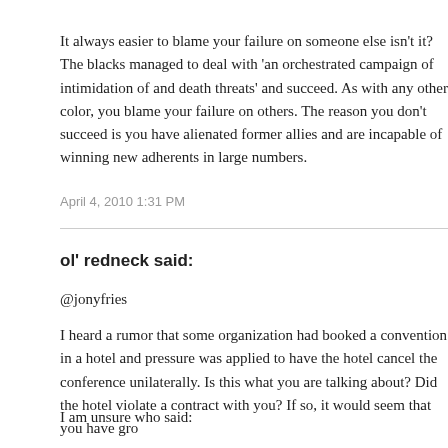It always easier to blame your failure on someone else isn't it? The blacks managed to deal with 'an orchestrated campaign of intimidation of and death threats' and succeed. As with any other color, you blame your failure on others. The reason you don't succeed is you have alienated former allies and are incapable of winning new adherents in large numbers.
April 4, 2010 1:31 PM
ol' redneck said:
@jonyfries
I heard a rumor that some organization had booked a convention in a hotel and pressure was applied to have the hotel cancel the conference unilaterally. Is this what you are talking about? Did the hotel violate a contract with you? If so, it would seem that you have gro
I am unsure who said:
The blacks managed to deal with 'an orchestrated campaign of intimidation of an
but that statement is obviously false. Blacks had no power so they had nothing to do with the civil rights act or with starting affirmative action. Blacks protested discrimination, but the legislation and the programs came from whites, particularly Jewish whites.
I can't for the life of me see why so many Jews supported affirmative action - it c